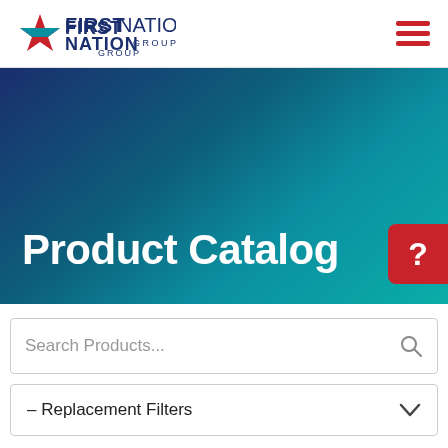[Figure (logo): First Nation Group logo with star icon and text]
Product Catalog
Search Products...
– Replacement Filters